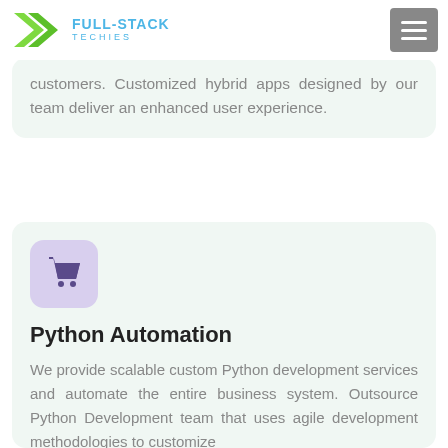Full-Stack Techies
customers. Customized hybrid apps designed by our team deliver an enhanced user experience.
[Figure (logo): Shopping cart icon in purple on light purple rounded square background]
Python Automation
We provide scalable custom Python development services and automate the entire business system. Outsource Python Development team that uses agile development methodologies to customize